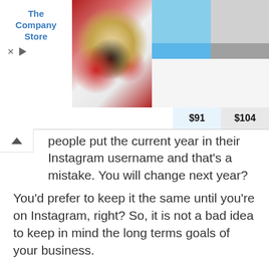[Figure (screenshot): Advertisement banner for The Company Store showing food photography and bedding products priced at $91 and $104]
people put the current year in their Instagram username and that's a mistake. You will change next year?
You'd prefer to keep it the same until you're on Instagram, right? So, it is not a bad idea to keep in mind the long terms goals of your business.
Let us know which of these xbox usernames you would prefer:
David Lynch
Chiller Killer
DJbugCatcher